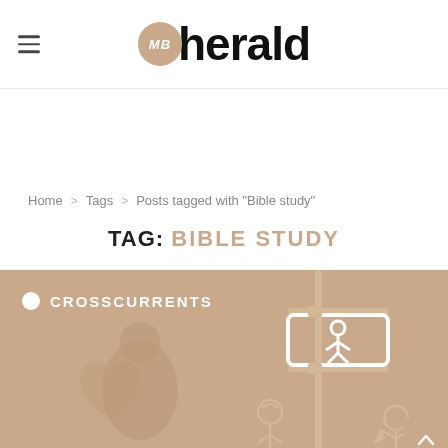MB herald (logo)
Home > Tags > Posts tagged with "Bible study"
TAG: BIBLE STUDY
[Figure (illustration): A tan/brown illustrated card showing the text 'CROSSCURRENTS' with a white dot bullet point, and illustrations of a pedestrian crossing sign, a person in winter clothing, and a figure reading/writing, all on a warm brown background.]